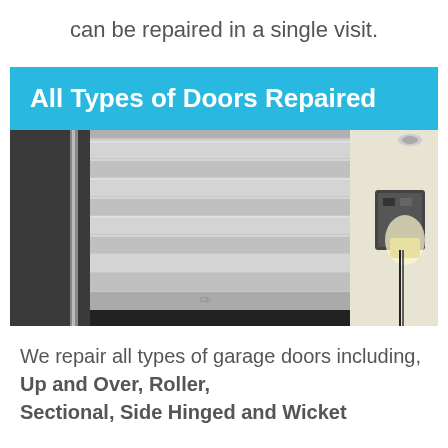can be repaired in a single visit.
All Types of Doors Repaired
[Figure (photo): Interior view of a roller garage door mechanism, showing horizontal slats rolling up at ceiling level with a motor/control unit mounted on the wall to the right and a wall light.]
We repair all types of garage doors including, Up and Over, Roller, Sectional, Side Hinged and Wicket